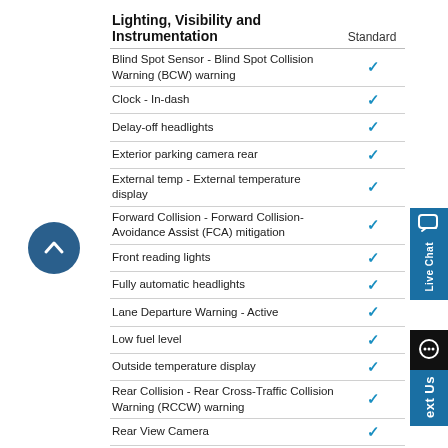| Lighting, Visibility and Instrumentation | Standard |
| --- | --- |
| Blind Spot Sensor - Blind Spot Collision Warning (BCW) warning | ✓ |
| Clock - In-dash | ✓ |
| Delay-off headlights | ✓ |
| Exterior parking camera rear | ✓ |
| External temp - External temperature display | ✓ |
| Forward Collision - Forward Collision-Avoidance Assist (FCA) mitigation | ✓ |
| Front reading lights | ✓ |
| Fully automatic headlights | ✓ |
| Lane Departure Warning - Active | ✓ |
| Low fuel level | ✓ |
| Outside temperature display | ✓ |
| Rear Collision - Rear Cross-Traffic Collision Warning (RCCW) warning | ✓ |
| Rear View Camera | ✓ |
|  |  |
| Rear window defroster | ✓ |
| Tachometer | ✓ |
| Trip computer | ✓ |
| Variably intermittent wipers | ✓ |